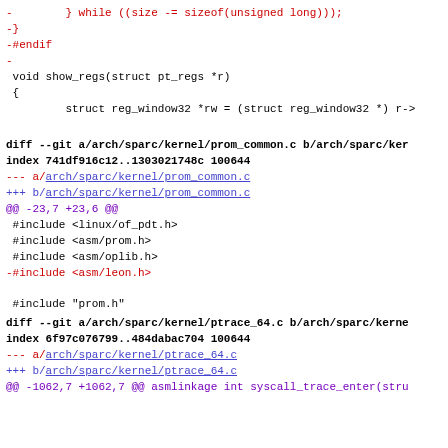- } while ((size -= sizeof(unsigned long)));
-}
-#endif
-
 void show_regs(struct pt_regs *r)
 {
         struct reg_window32 *rw = (struct reg_window32 *) r->
diff --git a/arch/sparc/kernel/prom_common.c b/arch/sparc/ker
index 741df916c12..1303021748c 100644
--- a/arch/sparc/kernel/prom_common.c
+++ b/arch/sparc/kernel/prom_common.c
@@ -23,7 +23,6 @@
 #include <linux/of_pdt.h>
 #include <asm/prom.h>
 #include <asm/oplib.h>
-#include <asm/leon.h>

 #include "prom.h"
diff --git a/arch/sparc/kernel/ptrace_64.c b/arch/sparc/kerne
index 6f97c076799..484dabac704 100644
--- a/arch/sparc/kernel/ptrace_64.c
+++ b/arch/sparc/kernel/ptrace_64.c
@@ -1062,7 +1062,7 @@ asmlinkage int syscall_trace_enter(stru